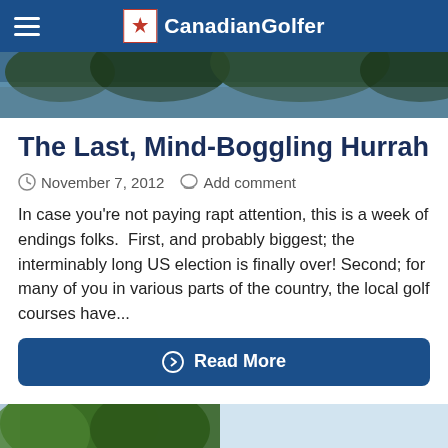CanadianGolfer
[Figure (photo): Hero banner image showing trees and sky]
The Last, Mind-Boggling Hurrah
November 7, 2012   Add comment
In case you're not paying rapt attention, this is a week of endings folks.  First, and probably biggest; the interminably long US election is finally over! Second; for many of you in various parts of the country, the local golf courses have...
Read More
[Figure (photo): Partial bottom image showing tree branches and sky]